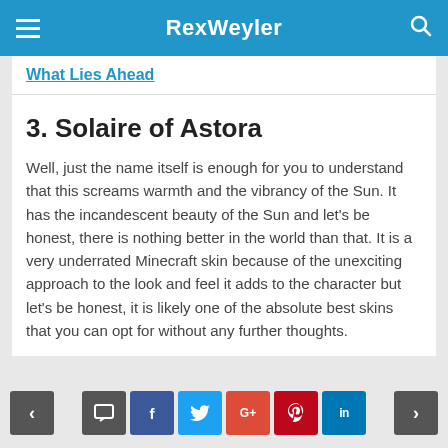RexWeyler
What Lies Ahead
3. Solaire of Astora
Well, just the name itself is enough for you to understand that this screams warmth and the vibrancy of the Sun. It has the incandescent beauty of the Sun and let's be honest, there is nothing better in the world than that. It is a very underrated Minecraft skin because of the unexciting approach to the look and feel it adds to the character but let's be honest, it is likely one of the absolute best skins that you can opt for without any further thoughts.
< comment f t G+ p in >